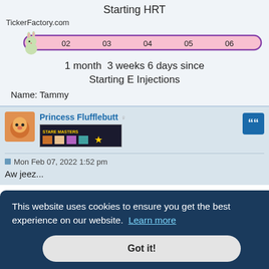Starting HRT
TickerFactory.com
[Figure (infographic): A progress ticker bar showing milestones 01 through 06, with a bunny mascot at the start position on the left side. Pink bar with purple border.]
1 month  3 weeks 6 days since
Starting E Injections
Name: Tammy
Princess Flufflebutt
[Figure (infographic): Star Masters user badge/banner image for Princess Flufflebutt]
Mon Feb 07, 2022 1:52 pm
Aw jeez...
This website uses cookies to ensure you get the best experience on our website.  Learn more
Got it!
Wed Feb 16, 2022 6:34 pm